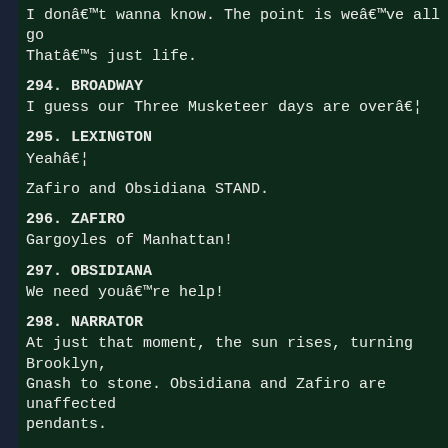I donâ€™t wanna know. The point is weâ€™ve all go Thatâ€™s just life.
294. BROADWAY
I guess our Three Musketeer days are overâ€¦
295. LEXINGTON
Yeahâ€¦
Zafiro and Obsidiana STAND.
296. ZAFIRO
Gargoyles of Manhattan!
297. OBSIDIANA
We need youâ€™re help!
298. NARRATOR
At just that moment, the sun rises, turning Brooklyn, Gnash to stone. Obsidiana and Zafiro are unaffected pendants.
299. ZAFIRO
Mierda.